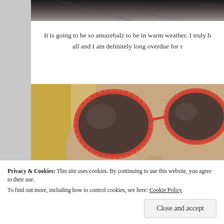[Figure (photo): Top portion of a dark/moody photo, partially cropped at top of page]
It is going to be so amazebalz to be in warm weather. I truly b all and I am definitely long overdue for r
[Figure (photo): Close-up photo of a blonde woman wearing large round sunglasses with floral/red patterned frames, making a pouty face]
Privacy & Cookies: This site uses cookies. By continuing to use this website, you agree to their use.
To find out more, including how to control cookies, see here: Cookie Policy
Close and accept